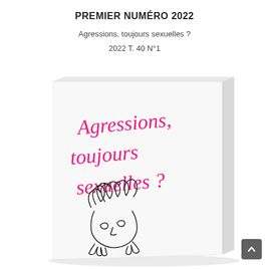PREMIER NUMÉRO 2022
Agressions, toujours sexuelles ?
2022 T. 40 N°1
[Figure (photo): Book cover shown in perspective/3D view. The cover is white with pink handwritten-style cursive text reading 'Agressions, toujours sexuelles?' and a minimalist line-art illustration of a face with curly hair, eyes closed, and hands near the chin.]